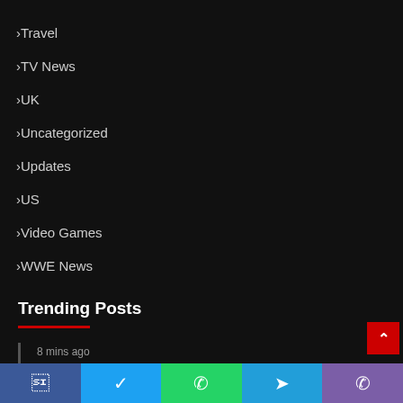Travel
TV News
UK
Uncategorized
Updates
US
Video Games
WWE News
Trending Posts
8 mins ago
TV Ratings for Tuesday 30th August 2022 – Network Prelims, Finals and Cable Numbers Posted